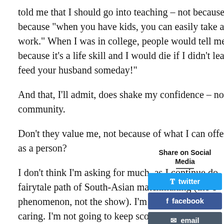told me that I should go into teaching – not because I had any talent in that area, but because "when you have kids, you can easily take a break and then later come back to work." When I was in college, people would tell me that I needed to learn to cook – not because it's a life skill and I would die if I didn't learn it, but because "you'll need to feed your husband someday!"
And that, I'll admit, does shake my confidence – not in myself, but in the Muslim community.
Don't they value me, not because of what I can offer to a man, but because of who I am as a person?
I don't think I'm asking for much, as I continue down the fairytale path of South-Asian matchmaking (the cultural phenomenon, not the show). I'm not refusing to cook or caring. I'm not going to keep score of which in-laws did me any favors and which ones get under my skin. I know that I'll never consider being a temporary homem... kids.
Share on Social Media
twitter
facebook
email